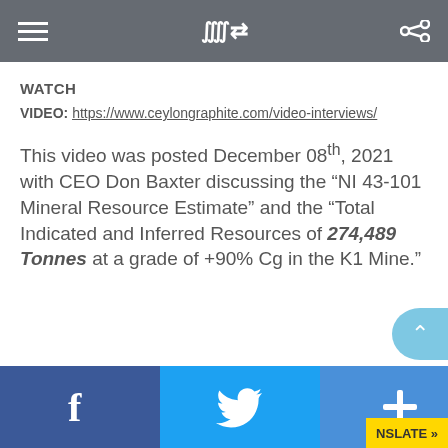WATCH
VIDEO: https://www.ceylongraphite.com/video-interviews/
This video was posted December 08th, 2021 with CEO Don Baxter discussing the “NI 43-101 Mineral Resource Estimate” and the “Total Indicated and Inferred Resources of 274,489 Tonnes at a grade of +90% Cg in the K1 Mine.”
In this video, Don discusses the potential value of the mine. All findings. Park
[Figure (screenshot): Social share buttons: Facebook (blue), Twitter (light blue), Plus/share (blue). Also a scroll-up circular button and a TRANSLATE button.]